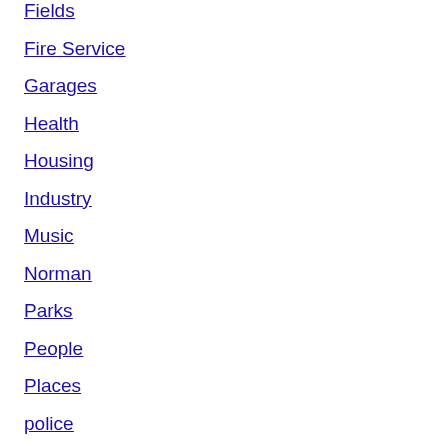Fields
Fire Service
Garages
Health
Housing
Industry
Music
Norman
Parks
People
Places
police
Pubs
Research
Restaurants
Roads
Rural District
Schools
Services